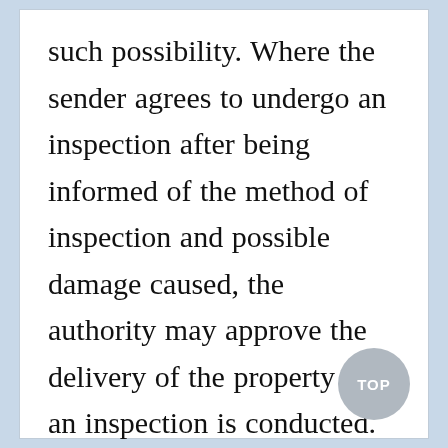such possibility. Where the sender agrees to undergo an inspection after being informed of the method of inspection and possible damage caused, the authority may approve the delivery of the property after an inspection is conducted.